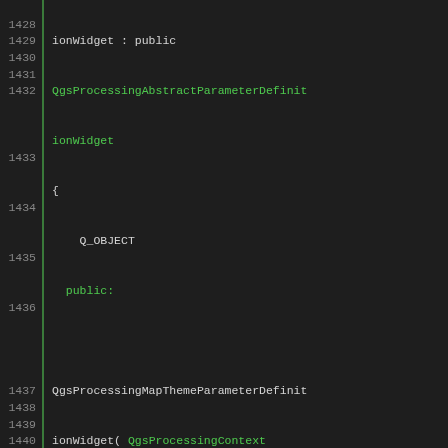[Figure (screenshot): Source code screenshot showing C++ class definition for QgsProcessingMapThemeParameterDefinitionWidget, lines 1428-1444, dark theme code editor with green syntax highlighting for keywords and identifiers.]